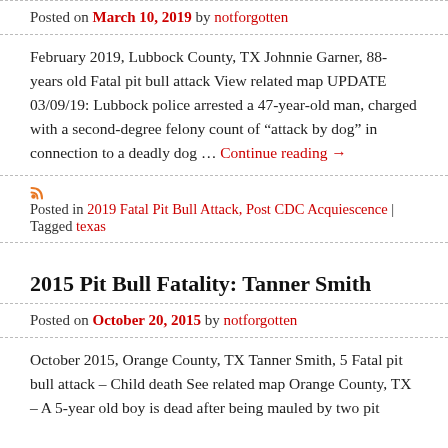Posted on March 10, 2019 by notforgotten
February 2019, Lubbock County, TX Johnnie Garner, 88-years old Fatal pit bull attack View related map UPDATE 03/09/19: Lubbock police arrested a 47-year-old man, charged with a second-degree felony count of "attack by dog" in connection to a deadly dog ... Continue reading →
Posted in 2019 Fatal Pit Bull Attack, Post CDC Acquiescence | Tagged texas
2015 Pit Bull Fatality: Tanner Smith
Posted on October 20, 2015 by notforgotten
October 2015, Orange County, TX Tanner Smith, 5 Fatal pit bull attack – Child death See related map Orange County, TX – A 5-year old boy is dead after being mauled by two pit